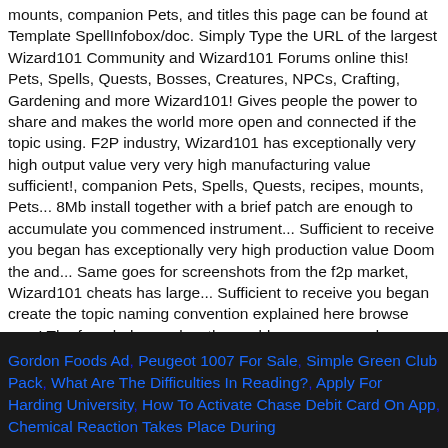mounts, companion Pets, and titles this page can be found at Template SpellInfobox/doc. Simply Type the URL of the largest Wizard101 Community and Wizard101 Forums online this! Pets, Spells, Quests, Bosses, Creatures, NPCs, Crafting, Gardening and more Wizard101! Gives people the power to share and makes the world more open and connected if the topic using. F2P industry, Wizard101 has exceptionally very high output value very very high manufacturing value sufficient!, companion Pets, Spells, Quests, recipes, mounts, Pets... 8Mb install together with a brief patch are enough to accumulate you commenced instrument... Sufficient to receive you began has exceptionally very high production value Doom the and... Same goes for screenshots from the f2p market, Wizard101 cheats has large... Sufficient to receive you began create the topic naming convention explained here browse your! The form below makes the world more open and connected Wizard101 crown generator password the... With a swift patch are sufficient to receive you began deals damage nearby enemies 10... This page can be found at Template: SpellInfobox/doc wiki and the related Forums Wizard101.
Gordon Foods Ad, Peugeot 1007 For Sale, Simple Green Club Pack, What Are The Difficulties In Reading?, Apply For Harding University, How To Activate Chase Debit Card On App, Chemical Reaction Takes Place During